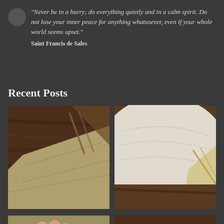“Never be in a hurry; do everything quietly and in a calm spirit. Do not lose your inner peace for anything whatsoever, even if your whole world seems upset.”

Saint Francis de Sales
Recent Posts
[Figure (photo): Close-up photo of fabric sewn onto a wooden surface, showing tan/olive fabric with stitching lines on a dark wood background]
[Figure (photo): Close-up photo of white/cream sheer fabric with stitching lines and a striped fabric peeking through on a wooden surface]
[Figure (photo): Close-up photo of fingers holding or pinching olive/tan fabric with yellow stripe detail]
[Figure (photo): Close-up photo of olive/tan fabric piece placed on a dark wood surface]